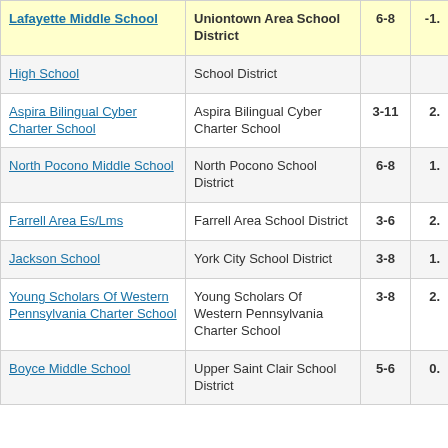| School | District | Grades | Value |
| --- | --- | --- | --- |
| Lafayette Middle School | Uniontown Area School District | 6-8 | -1. |
| High School | School District |  |  |
| Aspira Bilingual Cyber Charter School | Aspira Bilingual Cyber Charter School | 3-11 | 2. |
| North Pocono Middle School | North Pocono School District | 6-8 | 1. |
| Farrell Area Es/Lms | Farrell Area School District | 3-6 | 2. |
| Jackson School | York City School District | 3-8 | 1. |
| Young Scholars Of Western Pennsylvania Charter School | Young Scholars Of Western Pennsylvania Charter School | 3-8 | 2. |
| Boyce Middle School | Upper Saint Clair School District | 5-6 | 0. |